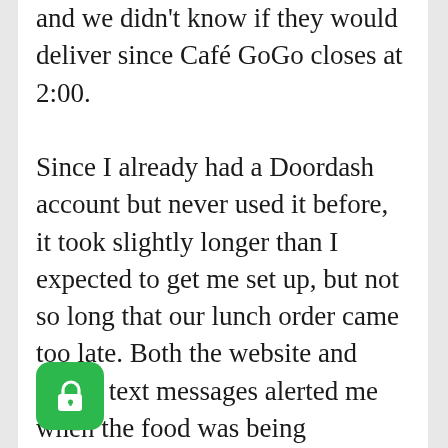and we didn't know if they would deliver since Café GoGo closes at 2:00.

Since I already had a Doordash account but never used it before, it took slightly longer than I expected to get me set up, but not so long that our lunch order came too late. Both the website and phone text messages alerted me when the food was being prepared, picked up, and on its way to our home. Cheerful Doordash deliverer James arrived at our doorstep at 2:20 p.m. with our food in a large
[Figure (other): Green rounded square icon with a white padlock/lock symbol]